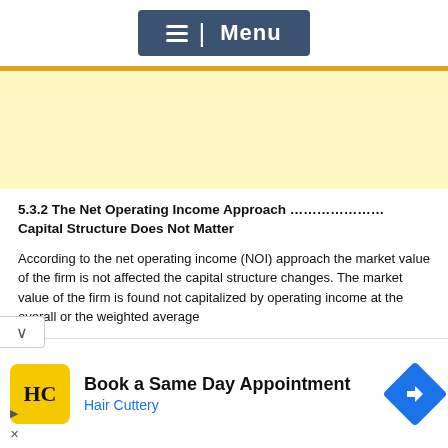[Figure (screenshot): Navigation menu bar with hamburger icon and 'Menu' text on dark blue background]
[Figure (other): Yellow/cream colored advertisement placeholder area]
5.3.2 The Net Operating Income Approach ………………… Capital Structure Does Not Matter
According to the net operating income (NOI) approach the market value of the firm is not affected the capital structure changes. The market value of the firm is found not capitalized by operating income at the overall or the weighted average
[Figure (other): Bottom advertisement banner: Hair Cuttery 'Book a Same Day Appointment' ad with yellow logo and blue navigation icon]